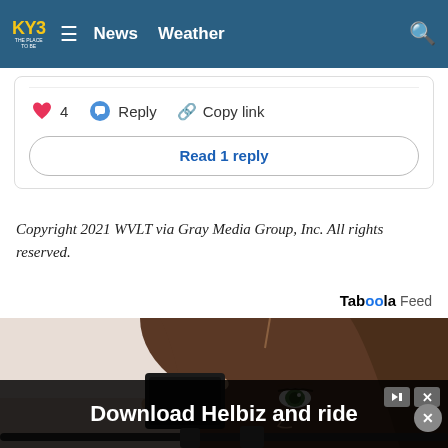KY3 THE PLACE TO BE — News  Weather
[Figure (screenshot): Comment interaction bar showing a pink heart icon with count 4, a blue Reply button, and a Copy link option, plus a 'Read 1 reply' button]
Copyright 2021 WVLT via Gray Media Group, Inc. All rights reserved.
Taboola Feed
[Figure (photo): Woman with brown hair holding a small black device (like a card reader or tablet) in front of her face, green eyes visible]
Download Helbiz and ride